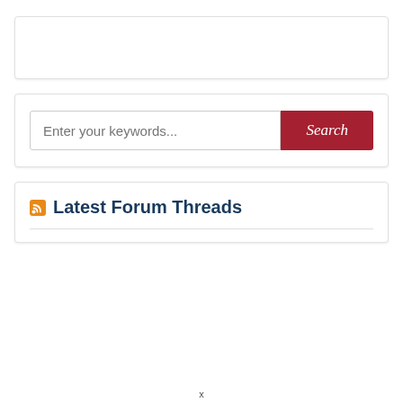[Figure (other): Empty white card/panel with light border and shadow]
[Figure (other): Search widget with text input placeholder 'Enter your keywords...' and red Search button]
Latest Forum Threads
x